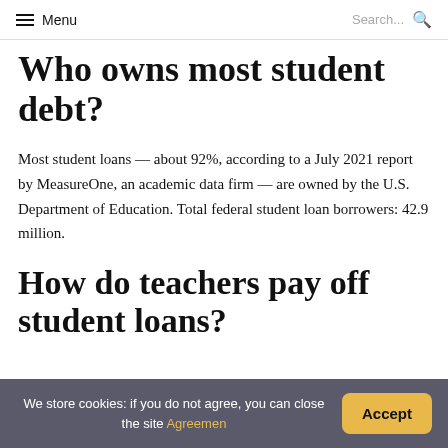Menu | Search...
Who owns most student debt?
Most student loans — about 92%, according to a July 2021 report by MeasureOne, an academic data firm — are owned by the U.S. Department of Education. Total federal student loan borrowers: 42.9 million.
How do teachers pay off student loans?
We store cookies: if you do not agree, you can close the site Agreemen